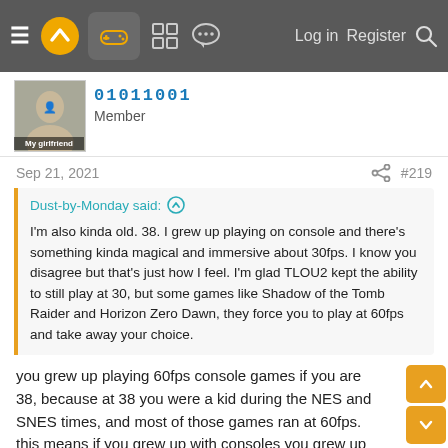Navigation bar with logo, controller icon, grid icon, chat icon, Log in, Register, Search
01011001
Member
Sep 21, 2021  #219
Dust-by-Monday said: ↑

I'm also kinda old. 38. I grew up playing on console and there's something kinda magical and immersive about 30fps. I know you disagree but that's just how I feel. I'm glad TLOU2 kept the ability to still play at 30, but some games like Shadow of the Tomb Raider and Horizon Zero Dawn, they force you to play at 60fps and take away your choice.
you grew up playing 60fps console games if you are 38, because at 38 you were a kid during the NES and SNES times, and most of those games ran at 60fps. this means if you grew up with consoles you grew up with 60fps
also during the PS2 generation 60fps was very common on